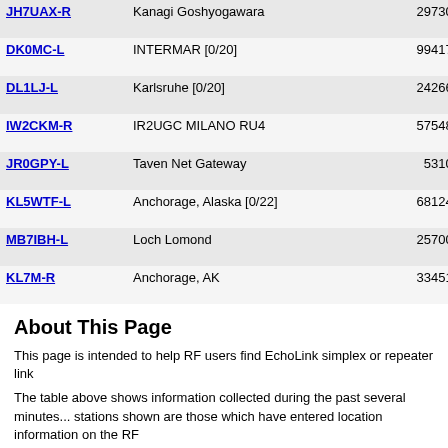| Callsign | Name | Node# | Location | Grid |
| --- | --- | --- | --- | --- |
| JH7UAX-R | Kanagi Goshyogawara | 297307 | 40°54.67' N 140°26.88' W | BN90s... |
| DK0MC-L | INTERMAR [0/20] | 994173 | 49°00.00' N 8°00.00' W | IN69aa... |
| DL1LJ-L | Karlsruhe [0/20] | 242660 | 49°00.00' N 8°00.00' W | IN69aa... |
| IW2CKM-R | IR2UGC MILANO RU4 | 575481 | 45°44.51' N 9°21.96' W | IN55h... |
| JR0GPY-L | Taven Net Gateway | 53103 | 37°28.16' N 138°48.48' W | CM07d... |
| KL5WTF-L | Anchorage, Alaska [0/22] | 681245 | 61°12.24' N 149°45.54' W | BP51c... |
| MB7IBH-L | Loch Lomond | 257003 | 55°58.48' N 4°33.48' W | IO75rx... |
| KL7M-R | Anchorage, AK | 334513 | 61°15.00' N 150°00.00' W | BP51a... |
About This Page
This page is intended to help RF users find EchoLink simplex or repeater link...
The table above shows information collected during the past several minutes... stations shown are those which have entered location information on the RF...
Simplex links (-L) show the location, frequency, and antenna information of th... antenna information of the repeater it serves. The values in the Power, HAAT...